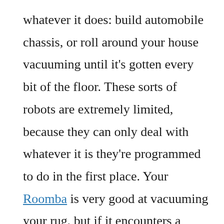whatever it does: build automobile chassis, or roll around your house vacuuming until it's gotten every bit of the floor. These sorts of robots are extremely limited, because they can only deal with whatever it is they're programmed to do in the first place. Your Roomba is very good at vacuuming your rug, but if it encounters a Coke can on the rug, it doesn't know what to do with it — it either ignores it or it runs away in a robot's version of existential dread.